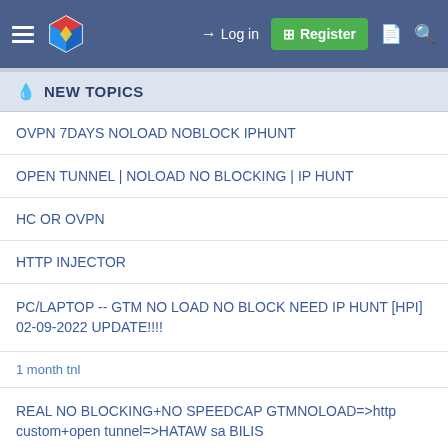Log in | Register
NEW TOPICS
OVPN 7DAYS NOLOAD NOBLOCK IPHUNT
OPEN TUNNEL | NOLOAD NO BLOCKING | IP HUNT
HC OR OVPN
HTTP INJECTOR
PC/LAPTOP -- GTM NO LOAD NO BLOCK NEED IP HUNT [HPI] 02-09-2022 UPDATE!!!!
1 month tnl
REAL NO BLOCKING+NO SPEEDCAP GTMNOLOAD=>http custom+open tunnel=>HATAW sa BILIS
Working Magic IP